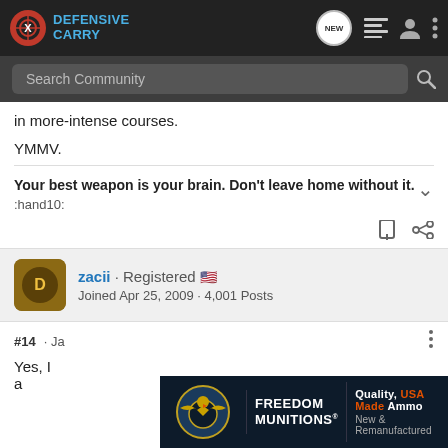Defensive Carry — navigation bar with search
in more-intense courses.
YMMV.
Your best weapon is your brain. Don't leave home without it.
:hand10:
zacii · Registered 🇺🇸
Joined Apr 25, 2009 · 4,001 Posts
#14 · Jan
Yes, I a
[Figure (screenshot): Freedom Munitions advertisement banner: dark navy background, eagle logo, text 'FREEDOM MUNITIONS' and 'QUALITY, USA MADE AMMO NEW & REMANUFACTURED']